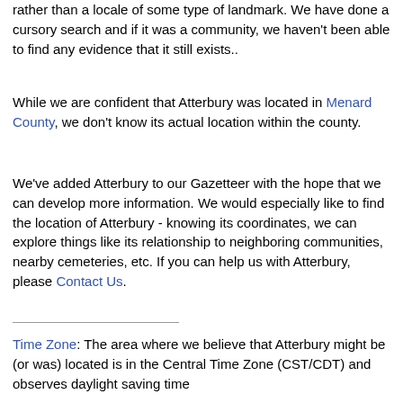rather than a locale of some type of landmark. We have done a cursory search and if it was a community, we haven't been able to find any evidence that it still exists..
While we are confident that Atterbury was located in Menard County, we don't know its actual location within the county.
We've added Atterbury to our Gazetteer with the hope that we can develop more information. We would especially like to find the location of Atterbury - knowing its coordinates, we can explore things like its relationship to neighboring communities, nearby cemeteries, etc. If you can help us with Atterbury, please Contact Us.
Time Zone: The area where we believe that Atterbury might be (or was) located is in the Central Time Zone (CST/CDT) and observes daylight saving time
We believe that Atterbury would be found within the (217) area code.